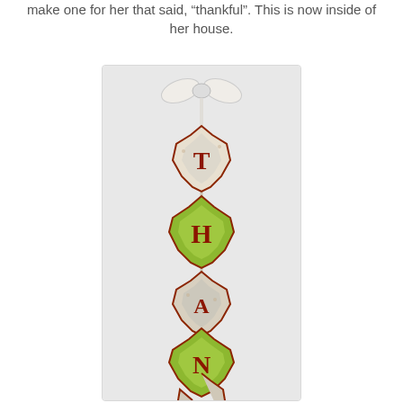make one for her that said, 'thankful'. This is now inside of her house.
[Figure (photo): A vertical garland banner made of autumn maple leaves with letters spelling out 'THANKFUL', tied with a white bow at the top. The leaves are yellow-green with brown/red outlines and each contains a letter in red.]